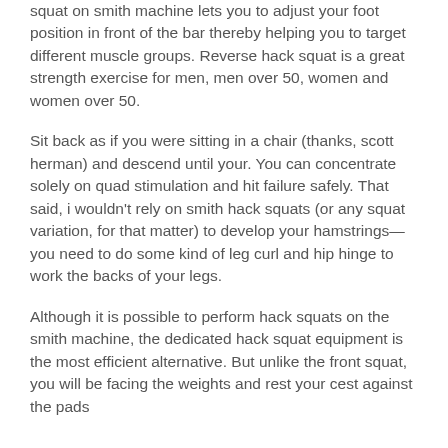squat on smith machine lets you to adjust your foot position in front of the bar thereby helping you to target different muscle groups. Reverse hack squat is a great strength exercise for men, men over 50, women and women over 50.
Sit back as if you were sitting in a chair (thanks, scott herman) and descend until your. You can concentrate solely on quad stimulation and hit failure safely. That said, i wouldn't rely on smith hack squats (or any squat variation, for that matter) to develop your hamstrings—you need to do some kind of leg curl and hip hinge to work the backs of your legs.
Although it is possible to perform hack squats on the smith machine, the dedicated hack squat equipment is the most efficient alternative. But unlike the front squat, you will be facing the weights and rest your chest against the pads